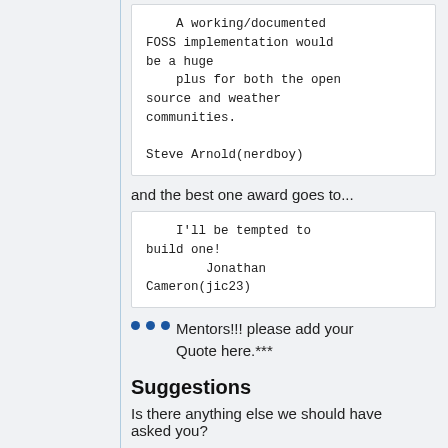A working/documented
FOSS implementation would
be a huge
    plus for both the open
source and weather
communities.

Steve Arnold(nerdboy)
and the best one award goes to...
I'll be tempted to
build one!
        Jonathan
Cameron(jic23)
Mentors!!! please add your Quote here.***
Suggestions
Is there anything else we should have asked you?